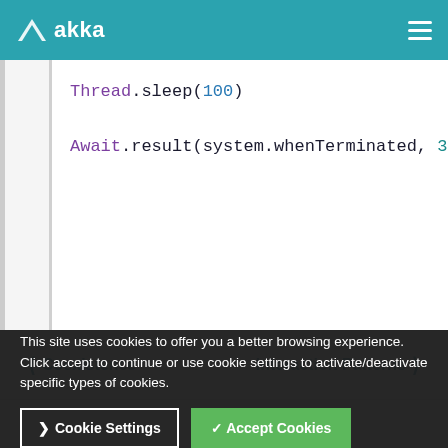akka
[Figure (screenshot): Code snippet showing Thread.sleep(100) and Await.result(system.whenTerminated, 3.seconds) in Scala syntax with syntax highlighting]
❮ Coexistence    Interaction Patterns ❯
This site uses cookies to offer you a better browsing experience. Click accept to continue or use cookie settings to activate/deactivate specific types of cookies.
Cookie Settings   ✓ Accept Cookies